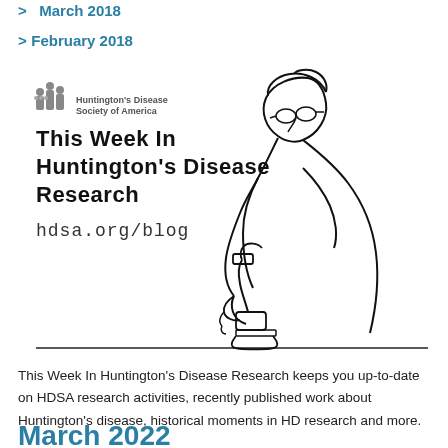> March 2018
> February 2018
[Figure (illustration): HDSA 'This Week In Huntington's Disease Research' banner with logo, large text reading 'This Week In Huntington's Disease Research', 'hdsa.org/blog' text, and a line-art illustration of a scientist looking through a microscope.]
This Week In Huntington's Disease Research keeps you up-to-date on HDSA research activities, recently published work about Huntington's disease, historical moments in HD research and more.
March 2022